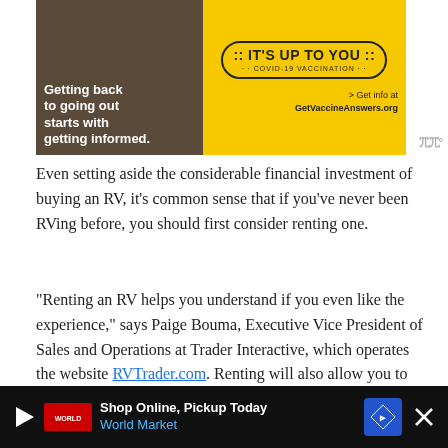[Figure (illustration): Advertisement banner for COVID-19 vaccination awareness. Left side shows a dark photo of a person. Text reads 'Getting back to going out starts with getting informed.' Right side is yellow with a badge reading 'IT'S UP TO YOU COVID-19 VACCINATION' and text '> Get info at GetVaccineAnswers.org']
Even setting aside the considerable financial investment of buying an RV, it's common sense that if you've never been RVing before, you should first consider renting one.
“Renting an RV helps you understand if you even like the experience,” says Paige Bouma, Executive Vice President of Sales and Operations at Trader Interactive, which operates the website RVTrader.com. Renting will also allow you to try out different types of RVs to see which kind is a good
[Figure (illustration): Bottom advertisement bar for World Market. Dark background with play icon, World Market logo and text 'Shop Online, Pickup Today' and 'World Market' in blue, along with a blue navigation road sign icon and an X close button.]